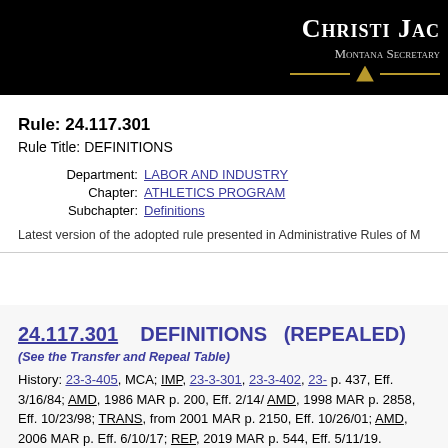CHRISTI JAC Montana Secretary
Rule: 24.117.301
Rule Title: DEFINITIONS
Department: LABOR AND INDUSTRY
Chapter: ATHLETICS PROGRAM
Subchapter: Definitions
Latest version of the adopted rule presented in Administrative Rules of M
24.117.301    DEFINITIONS   (REPEALED)
(See the Transfer and Repeal Table)
History: 23-3-405, MCA; IMP, 23-3-301, 23-3-402, 23-... p. 437, Eff. 3/16/84; AMD, 1986 MAR p. 200, Eff. 2/14/... AMD, 1998 MAR p. 2858, Eff. 10/23/98; TRANS, from ... 2001 MAR p. 2150, Eff. 10/26/01; AMD, 2006 MAR p.... Eff. 6/10/17; REP, 2019 MAR p. 544, Eff. 5/11/19.